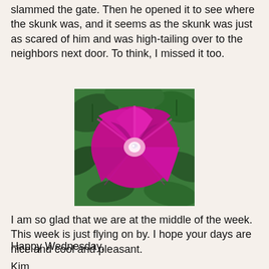slammed the gate. Then he opened it to see where the skunk was, and it seems as the skunk was just as scared of him and was high-tailing over to the neighbors next door. To think, I missed it too.
[Figure (photo): Close-up photograph of a large bright magenta/pink morning glory flower with green leaves in the background.]
I am so glad that we are at the middle of the week. This week is just flying on by. I hope your days are nice and cool and pleasant.
Happy Wednesday,
Kim